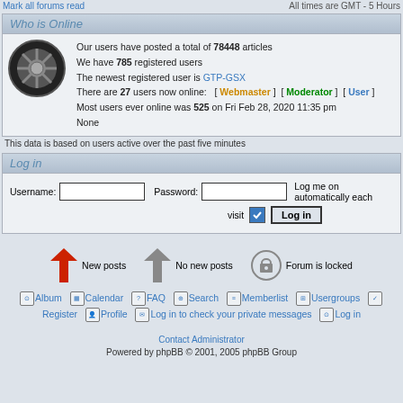Mark all forums read   All times are GMT - 5 Hours
Who is Online
Our users have posted a total of 78448 articles
We have 785 registered users
The newest registered user is GTP-GSX
There are 27 users now online: [ Webmaster ] [ Moderator ] [ User ]
Most users ever online was 525 on Fri Feb 28, 2020 11:35 pm
None
This data is based on users active over the past five minutes
Log in
Username: [input] Password: [input] Log me on automatically each visit [checkbox] Log in [button]
[Figure (infographic): Forum post status icons: red arrow (New posts), grey arrow (No new posts), lock icon (Forum is locked)]
Album  Calendar  FAQ  Search  Memberlist  Usergroups  Register  Profile  Log in to check your private messages  Log in
Contact Administrator
Powered by phpBB © 2001, 2005 phpBB Group